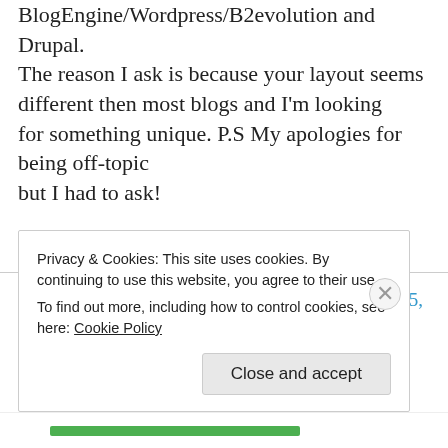BlogEngine/Wordpress/B2evolution and Drupal. The reason I ask is because your layout seems different then most blogs and I'm looking for something unique. P.S My apologies for being off-topic but I had to ask!
★ Like
charleston sc real estate companies on March 5, 2014 at 5:44 pm
Privacy & Cookies: This site uses cookies. By continuing to use this website, you agree to their use. To find out more, including how to control cookies, see here: Cookie Policy
Close and accept